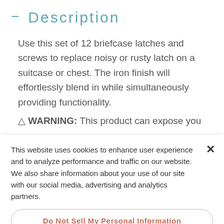- Description
Use this set of 12 briefcase latches and screws to replace noisy or rusty latch on a suitcase or chest. The iron finish will effortlessly blend in while simultaneously providing functionality.
⚠ WARNING: This product can expose you
This website uses cookies to enhance user experience and to analyze performance and traffic on our website. We also share information about your use of our site with our social media, advertising and analytics partners.
Do Not Sell My Personal Information
Accept Cookies